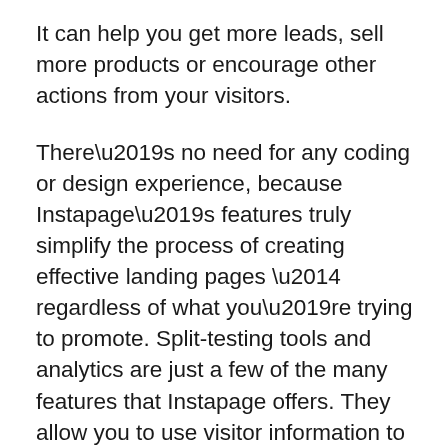It can help you get more leads, sell more products or encourage other actions from your visitors.
There’s no need for any coding or design experience, because Instapage’s features truly simplify the process of creating effective landing pages — regardless of what you’re trying to promote. Split-testing tools and analytics are just a few of the many features that Instapage offers. They allow you to use visitor information to increase the effectiveness your landing page designs.